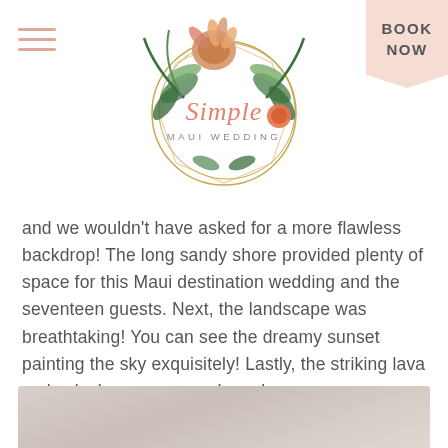[Figure (logo): Simple Maui Wedding logo: circular gold geometric frame with tropical flowers and greenery, script text 'Simple' in coral/pink and 'MAUI WEDDING' in small caps below]
[Figure (illustration): Hamburger menu icon: three horizontal salmon/peach colored lines]
[Figure (illustration): BOOK NOW banner in peach/blush triangular pennant shape in top-right corner]
and we wouldn't have asked for a more flawless backdrop! The long sandy shore provided plenty of space for this Maui destination wedding and the seventeen guests. Next, the landscape was breathtaking! You can see the dreamy sunset painting the sky exquisitely! Lastly, the striking lava rocks, lush greenery, and cerulean waves are a picturesque scene!
[Figure (photo): Bottom strip of a photo showing a sandy/neutral toned beach or landscape scene, partially cropped]